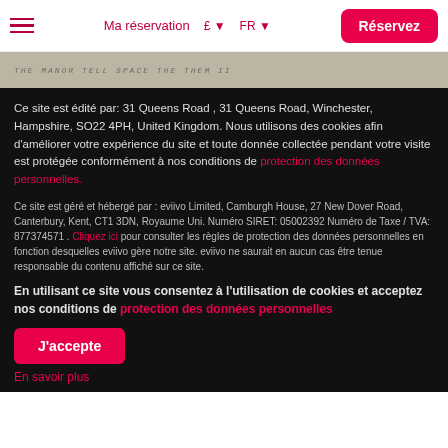Ma réservation  £  FR  Réservez
[Figure (photo): Partial view of a handwritten document or note, sepia/beige toned, used as a decorative image strip.]
Ce site est édité par: 31 Queens Road , 31 Queens Road, Winchester, Hampshire, SO22 4PH, United Kingdom. Nous utilisons des cookies afin d'améliorer votre expérience du site et toute donnée collectée pendant votre visite est protégée conformément à nos conditions de protection des données personnelles.
Ce site est géré et hébergé par : eviivo Limited, Camburgh House, 27 New Dover Road, Canterbury, Kent, CT1 3DN, Royaume Uni. Numéro SIRET: 05002392 Numéro de Taxe / TVA: 877374571 . Cliquez ici pour consulter les règles de protection des données personnelles en fonction desquelles eviivo gère notre site. eviivo ne saurait en aucun cas être tenue responsable du contenu affiché sur ce site.
En utilisant ce site vous consentez à l'utilisation de cookies et acceptez nos conditions de protection des données personnelles
J'accepte
En savoir plus